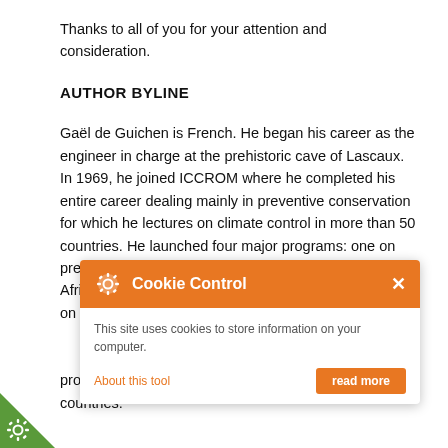Thanks to all of you for your attention and consideration.
AUTHOR BYLINE
Gaël de Guichen is French. He began his career as the engineer in charge at the prehistoric cave of Lascaux. In 1969, he joined ICCROM where he completed his entire career dealing mainly in preventive conservation for which he lectures on climate control in more than 50 countries. He launched four major programs: one on preventive conservation, one on the development of Afri... the public and one on sto...mber of ICOM-CC he led... Since his retirement in 2... he director general of ICO... the program on sto...nisation RE-ORG in 14 countries.
[Figure (screenshot): Cookie Control popup overlay with orange header, gear icon, close button (×), text 'This site uses cookies to store information on your computer.', 'About this tool' link in orange, and orange 'read more' button.]